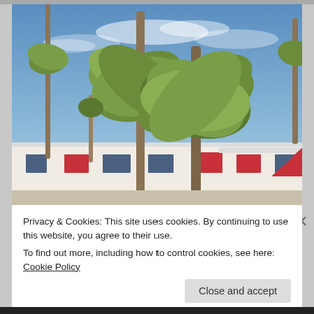[Figure (photo): Outdoor photo of a motel or resort with large palm trees in foreground, blue sky background, white building with red umbrellas and patio furniture visible, mid-century style architecture]
Privacy & Cookies: This site uses cookies. By continuing to use this website, you agree to their use.
To find out more, including how to control cookies, see here: Cookie Policy
Close and accept